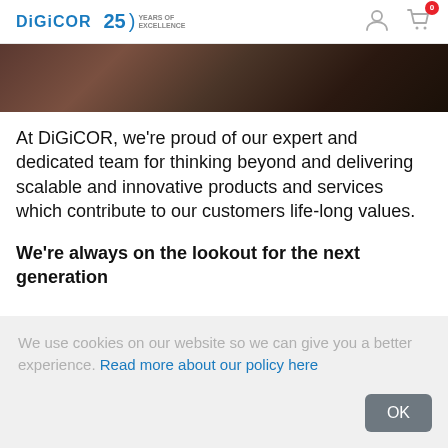DiGiCOR | 25 Years of Excellence | User icon | Cart (0)
[Figure (photo): Dark hero image strip showing a person in a dark environment]
At DiGiCOR, we're proud of our expert and dedicated team for thinking beyond and delivering scalable and innovative products and services which contribute to our customers life-long values.
We're always on the lookout for the next generation
We use cookies on our website so we can give you a better experience. Read more about our policy here
OK